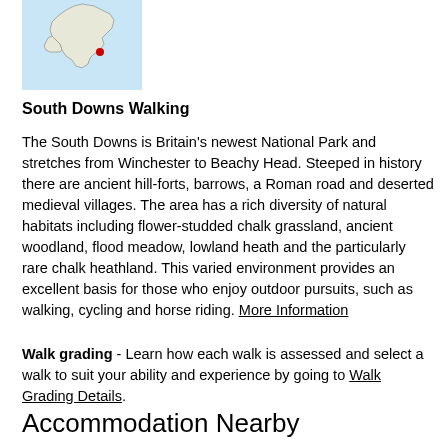[Figure (map): Map of England with a red dot marking the South Downs location on the south coast]
South Downs Walking
The South Downs is Britain's newest National Park and stretches from Winchester to Beachy Head. Steeped in history there are ancient hill-forts, barrows, a Roman road and deserted medieval villages. The area has a rich diversity of natural habitats including flower-studded chalk grassland, ancient woodland, flood meadow, lowland heath and the particularly rare chalk heathland. This varied environment provides an excellent basis for those who enjoy outdoor pursuits, such as walking, cycling and horse riding. More Information
Walk grading - Learn how each walk is assessed and select a walk to suit your ability and experience by going to Walk Grading Details.
Accommodation Nearby